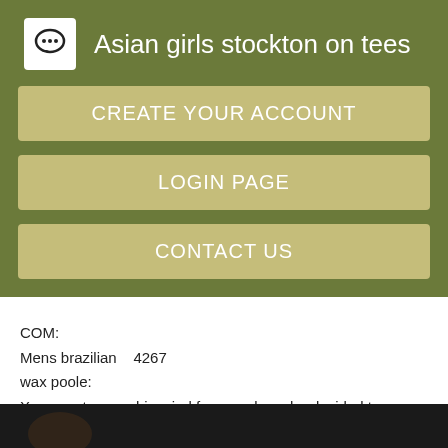Asian girls stockton on tees
CREATE YOUR ACCOUNT
LOGIN PAGE
CONTACT US
COM:
Mens brazilian    4267
wax poole:
X craves to ease his mind from work, so he decided to go online and check websites for. Gfe Girlfriend experience is a clear example.
THAI BAR GIRL WANTED “BOOM BOOM” [NOV 2021]
[Figure (photo): Dark image bar at bottom of page]